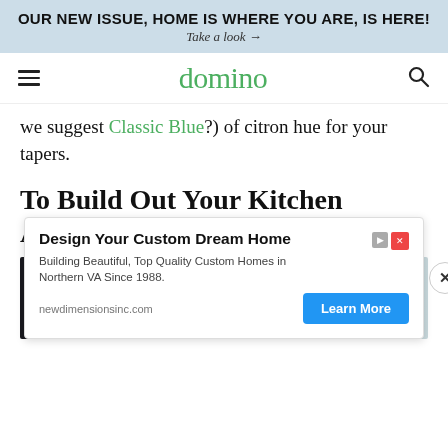OUR NEW ISSUE, HOME IS WHERE YOU ARE, IS HERE! Take a look →
domino
we suggest Classic Blue?) of citron hue for your tapers.
To Build Out Your Kitchen Arsenal
[Figure (photo): Partial kitchen or product image, dark on left, light grey on right]
[Figure (screenshot): Advertisement: Design Your Custom Dream Home. Building Beautiful, Top Quality Custom Homes in Northern VA Since 1988. newdimensionsinc.com. Learn More button.]